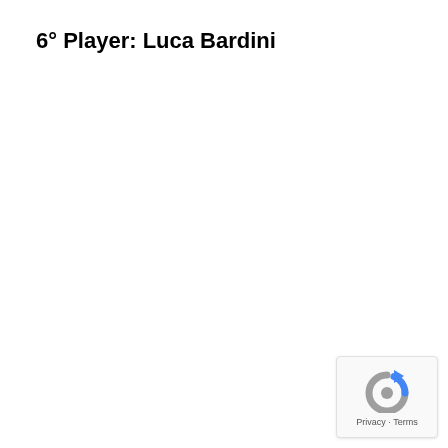6° Player: Luca Bardini
[Figure (logo): Google reCAPTCHA badge with circular arrow icon in blue and grey, and 'Privacy · Terms' text below]